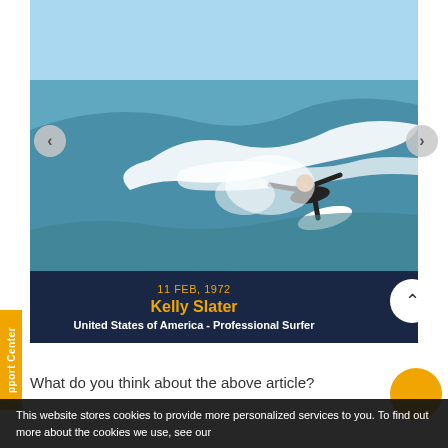[Figure (photo): Action photo of Kelly Slater surfing a wave, wearing a black wetsuit, on a white surfboard with large spray of water]
11 FEB, 1972
Kelly Slater
United States of America - Professional Surfer
What do you think about the above article?
This website stores cookies to provide more personalized services to you. To find out more about the cookies we use, see our